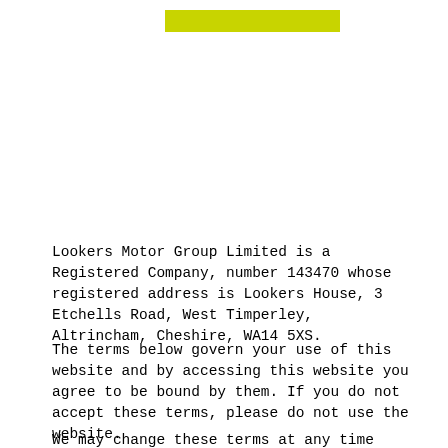[Figure (other): Yellow/lime green rectangular banner bar at top center of page]
Lookers Motor Group Limited is a Registered Company, number 143470 whose registered address is Lookers House, 3 Etchells Road, West Timperley, Altrincham, Cheshire, WA14 5XS.
The terms below govern your use of this website and by accessing this website you agree to be bound by them. If you do not accept these terms, please do not use the website.
We may change these terms at any time without notice